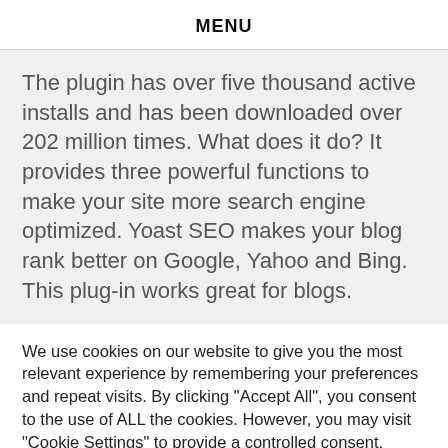MENU
The plugin has over five thousand active installs and has been downloaded over 202 million times. What does it do? It provides three powerful functions to make your site more search engine optimized. Yoast SEO makes your blog rank better on Google, Yahoo and Bing. This plug-in works great for blogs.
We use cookies on our website to give you the most relevant experience by remembering your preferences and repeat visits. By clicking "Accept All", you consent to the use of ALL the cookies. However, you may visit "Cookie Settings" to provide a controlled consent.